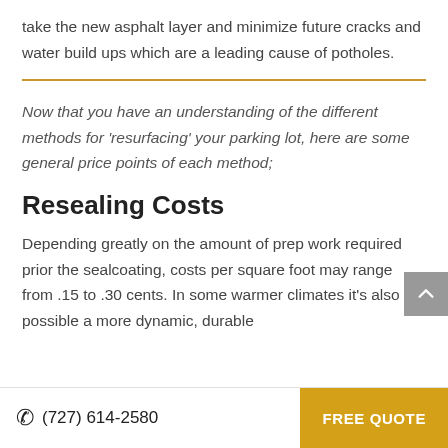take the new asphalt layer and minimize future cracks and water build ups which are a leading cause of potholes.
Resealing Costs
Now that you have an understanding of the different methods for ‘resurfacing’ your parking lot, here are some general price points of each method;
Depending greatly on the amount of prep work required prior the sealcoating, costs per square foot may range from .15 to .30 cents. In some warmer climates it’s also possible a more dynamic, durable
☎ (727) 614-2580   FREE QUOTE